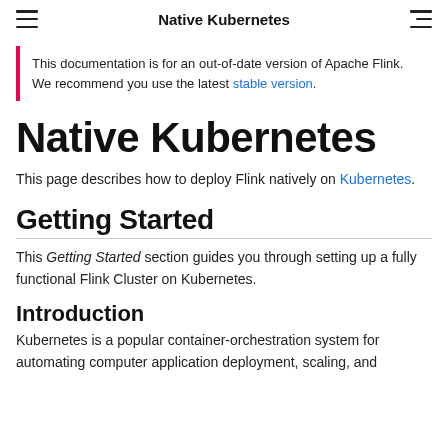Native Kubernetes
This documentation is for an out-of-date version of Apache Flink. We recommend you use the latest stable version.
Native Kubernetes
This page describes how to deploy Flink natively on Kubernetes.
Getting Started
This Getting Started section guides you through setting up a fully functional Flink Cluster on Kubernetes.
Introduction
Kubernetes is a popular container-orchestration system for automating computer application deployment, scaling, and management. Flink's native Kubernetes integration allows...